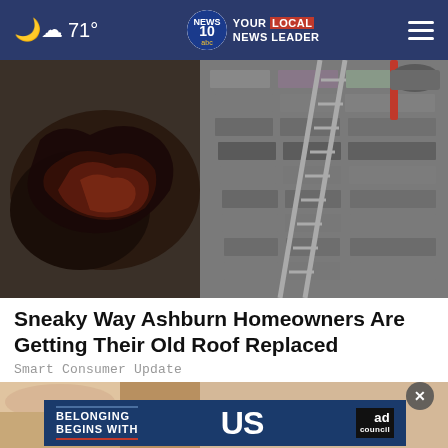71° YOUR LOCAL NEWS LEADER — NEWS 10 ABC
[Figure (photo): Aerial or close-up view of damaged roof shingles with debris, showing torn and deteriorated roofing material]
Sneaky Way Ashburn Homeowners Are Getting Their Old Roof Replaced
Smart Consumer Update
[Figure (photo): Partial view of a second article image, partially obscured by an advertisement overlay]
[Figure (other): Ad Council advertisement banner: BELONGING BEGINS WITH US]